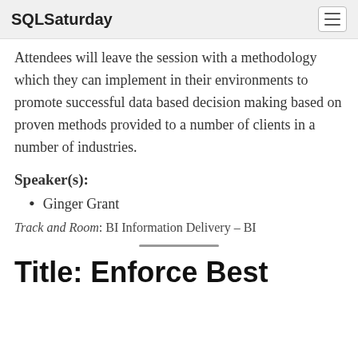SQLSaturday
Attendees will leave the session with a methodology which they can implement in their environments to promote successful data based decision making based on proven methods provided to a number of clients in a number of industries.
Speaker(s):
Ginger Grant
Track and Room: BI Information Delivery - BI
Title: Enforce Best